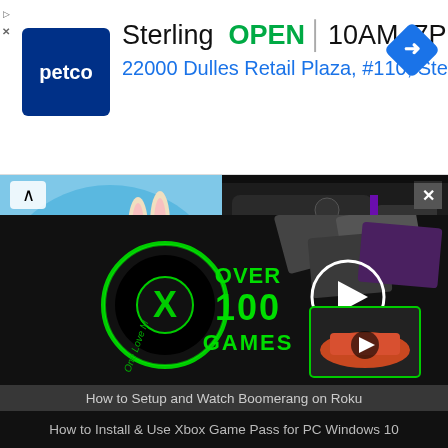[Figure (screenshot): Petco ad banner showing Sterling store location, OPEN 10AM-7PM, address 22000 Dulles Retail Plaza #110 Sterling, with navigation diamond icon]
[Figure (screenshot): Thumbnail image: Scooby-Doo and Bugs Bunny cartoon characters in a circular image with blue background, with chevron up arrow. Adjacent Roku device image showing Roku logo in dark background.]
How to Setup and Watch Boomerang on Roku
[Figure (screenshot): Xbox Game Pass promotional video frame showing Xbox logo, 'OVER 100 GAMES' text in green neon lighting, play button circle overlay, and a truck/car image inset. Dark background with gaming imagery.]
How to Install & Use Xbox Game Pass for PC Windows 10